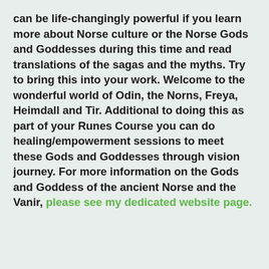can be life-changingly powerful if you learn more about Norse culture or the Norse Gods and Goddesses during this time and read translations of the sagas and the myths. Try to bring this into your work. Welcome to the wonderful world of Odin, the Norns, Freya, Heimdall and Tir. Additional to doing this as part of your Runes Course you can do healing/empowerment sessions to meet these Gods and Goddesses through vision journey. For more information on the Gods and Goddess of the ancient Norse and the Vanir, please see my dedicated website page.